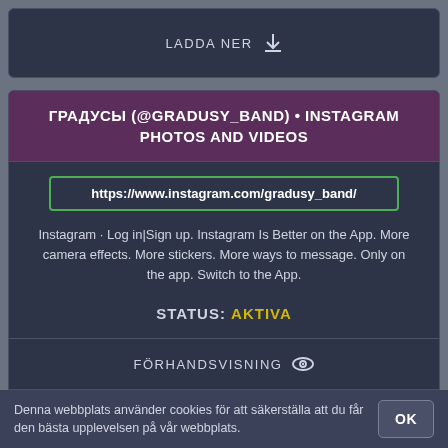[Figure (screenshot): Top card with LADDA NER download button on dark background]
ГРАДУСЫ (@GRADUSY_BAND) • INSTAGRAM PHOTOS AND VIDEOS
https://www.instagram.com/gradusy_band/
Instagram · Log in|Sign up. Instagram Is Better on the App. More camera effects. More stickers. More ways to message. Only on the app. Switch to the App.
STATUS: AKTIVA
FÖRHANDSVISNING
LADDA NER
Denna webbplats använder cookies för att säkerställa att du får den bästa upplevelsen på vår webbplats.